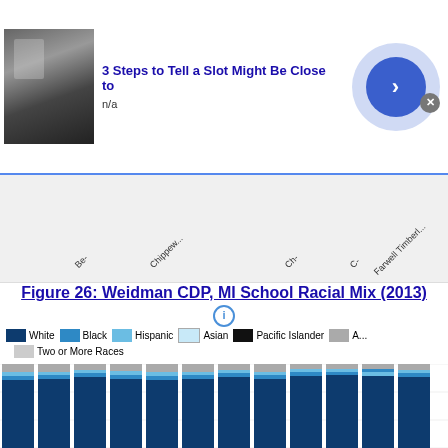[Figure (screenshot): Advertisement banner: '3 Steps to Tell a Slot Might Be Close to' with n/a subtitle, small casino image thumbnail, and blue arrow button]
[Figure (map): Partial map showing location labels: Be-, Chippewa-, Ch-, C-, Farwell Timberlake (rotated labels visible along top of chart region)]
Figure 26: Weidman CDP, MI School Racial Mix (2013)
[Figure (stacked-bar-chart): Figure 26: Weidman CDP, MI School Racial Mix (2013)]
[Figure (screenshot): Amazon advertisement: 'Amazon.com: Online Shopping for Everyone', 'Shop at Amazon. Free Shipping with Prime. Best Deals Ever!', amazon.com URL, Amazon logo, blue arrow button]